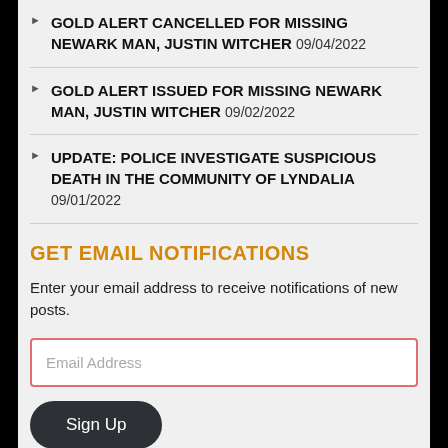GOLD ALERT CANCELLED FOR MISSING NEWARK MAN, JUSTIN WITCHER 09/04/2022
GOLD ALERT ISSUED FOR MISSING NEWARK MAN, JUSTIN WITCHER 09/02/2022
UPDATE: POLICE INVESTIGATE SUSPICIOUS DEATH IN THE COMMUNITY OF LYNDALIA 09/01/2022
GET EMAIL NOTIFICATIONS
Enter your email address to receive notifications of new posts.
Email Address
Sign Up